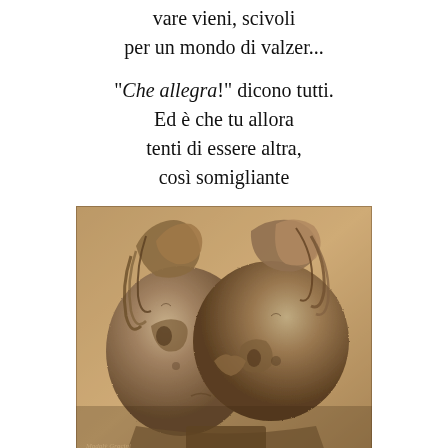vare vieni, scivoli
per un mondo di valzer...
"Che allegra!" dicono tutti.
Ed è che tu allora
tenti di essere altra,
così somigliante
[Figure (photo): Ancient stone sculpture of two horse heads facing each other, with flowing manes, displayed on a neutral background. A small watermark is visible in the lower left corner.]